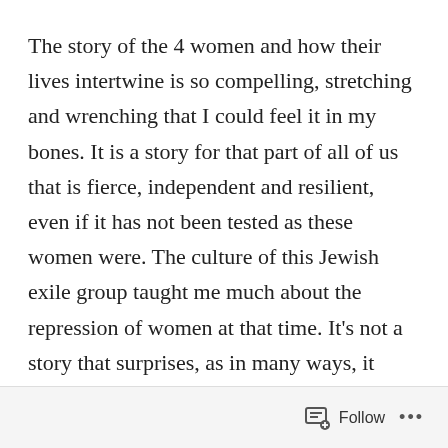The story of the 4 women and how their lives intertwine is so compelling, stretching and wrenching that I could feel it in my bones. It is a story for that part of all of us that is fierce, independent and resilient, even if it has not been tested as these women were. The culture of this Jewish exile group taught me much about the repression of women at that time. It’s not a story that surprises, as in many ways, it persists–the idea of women as property, as second class, as not as capable as a man, as feared for their intuition, as objects of sexual desire. And yet the author’s research into the specifics of this arc of history is so detailed and intriguing, while her imagination invoked in the fictional storytelling is lush, raw, tender, and bloody. These women are sensual and jealous lovers, disguised warriors, spell
Follow ...